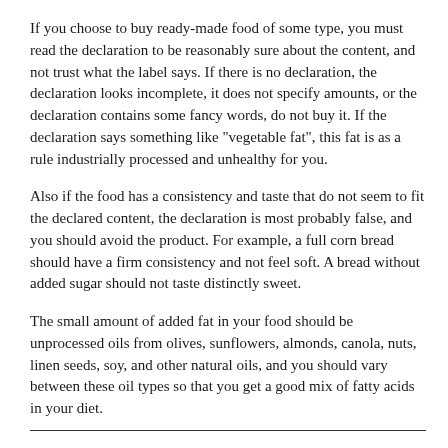If you choose to buy ready-made food of some type, you must read the declaration to be reasonably sure about the content, and not trust what the label says. If there is no declaration, the declaration looks incomplete, it does not specify amounts, or the declaration contains some fancy words, do not buy it. If the declaration says something like "vegetable fat", this fat is as a rule industrially processed and unhealthy for you.
Also if the food has a consistency and taste that do not seem to fit the declared content, the declaration is most probably false, and you should avoid the product. For example, a full corn bread should have a firm consistency and not feel soft. A bread without added sugar should not taste distinctly sweet.
The small amount of added fat in your food should be unprocessed oils from olives, sunflowers, almonds, canola, nuts, linen seeds, soy, and other natural oils, and you should vary between these oil types so that you get a good mix of fatty acids in your diet.